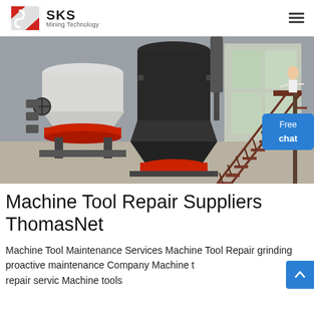SKS Mining Technology
[Figure (photo): Industrial mining machines including cone crushers and a staircase inside a factory building]
Machine Tool Repair Suppliers ThomasNet
Machine Tool Maintenance Services Machine Tool Repair grinding proactive maintenance Company Machine tool repair servic Machine tools